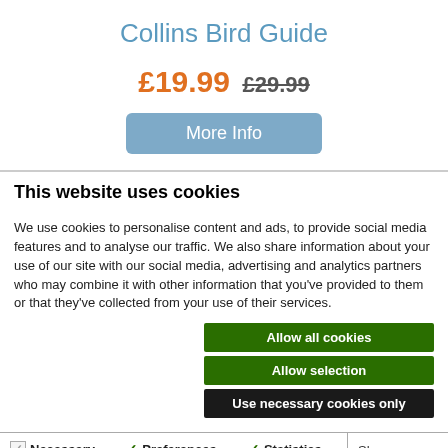Collins Bird Guide
£19.99  £29.99
More Info
This website uses cookies
We use cookies to personalise content and ads, to provide social media features and to analyse our traffic. We also share information about your use of our site with our social media, advertising and analytics partners who may combine it with other information that you've provided to them or that they've collected from your use of their services.
Allow all cookies
Allow selection
Use necessary cookies only
Necessary  Preferences  Statistics  Marketing  Show details